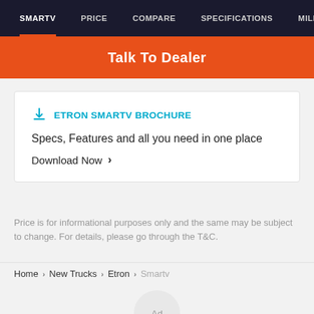SMARTV | PRICE | COMPARE | SPECIFICATIONS | MILEA
Talk To Dealer
ETRON SMARTV BROCHURE
Specs, Features and all you need in one place
Download Now ›
Price is for informational purposes only and the same may be subject to change. For details, please go through the T&C.
Home › New Trucks › Etron › Smartv
[Figure (other): Ad circle placeholder]